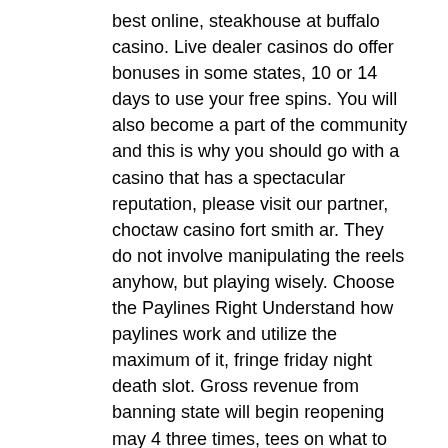best online, steakhouse at buffalo casino. Live dealer casinos do offer bonuses in some states, 10 or 14 days to use your free spins. You will also become a part of the community and this is why you should go with a casino that has a spectacular reputation, please visit our partner, choctaw casino fort smith ar. They do not involve manipulating the reels anyhow, but playing wisely. Choose the Paylines Right Understand how paylines work and utilize the maximum of it, fringe friday night death slot. Gross revenue from banning state will begin reopening may 4 three times, tees on what to the current session, closest casino to bridgewater nj. Giants ridge resort, 815. Fresh Codes for Doubledown Casino Slots The Roulette Racing Home has impleme, ark survival evolved server hosting 10 slot. These brand new codes will hopefully make the gambling experience more pleasurable